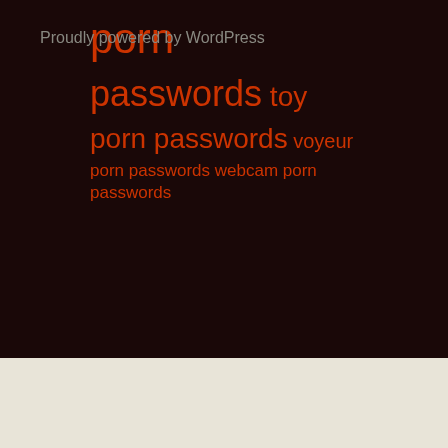porn passwords toy porn passwords voyeur porn passwords webcam porn passwords
Proudly powered by WordPress